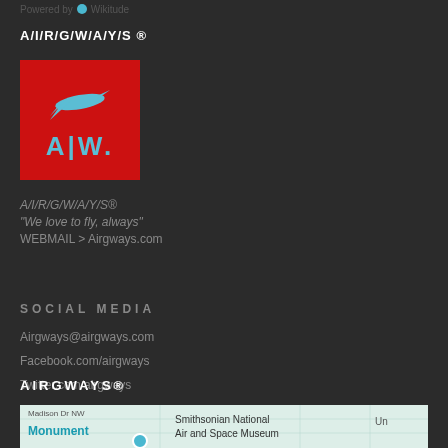Powered by Wikitude
A/I/R/G/W/A/Y/S ®
[Figure (logo): Airgways airline logo — red square background with light blue airplane icon above the letters AIW in light blue]
A/I/R/G/W/A/Y/S®
"We love to fly, always"
WEBMAIL > Airgways.com
SOCIAL MEDIA
Airgways@airgways.com
Facebook.com/airgways
Twitter.com/airgways
AIRGWAYS®
[Figure (map): Map strip showing Madison Dr NW, Monument label, Smithsonian National Air and Space Museum]